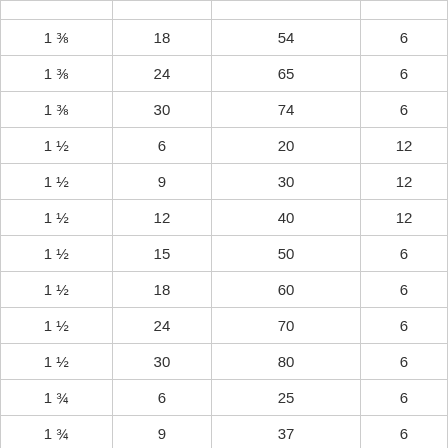| 1 ⅜ | 18 | 54 | 6 |
| 1 ⅜ | 24 | 65 | 6 |
| 1 ⅜ | 30 | 74 | 6 |
| 1 ½ | 6 | 20 | 12 |
| 1 ½ | 9 | 30 | 12 |
| 1 ½ | 12 | 40 | 12 |
| 1 ½ | 15 | 50 | 6 |
| 1 ½ | 18 | 60 | 6 |
| 1 ½ | 24 | 70 | 6 |
| 1 ½ | 30 | 80 | 6 |
| 1 ¾ | 6 | 25 | 6 |
| 1 ¾ | 9 | 37 | 6 |
| 1 ¾ | 12 | 49 | 6 |
| 1 ¾ | 15 | 61 | 6 |